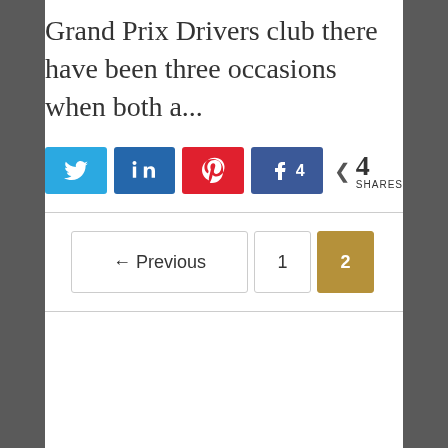Grand Prix Drivers club there have been three occasions when both a...
[Figure (infographic): Social sharing buttons: Twitter (blue), LinkedIn (dark blue), Pinterest (red), Facebook (blue with count 4), and a share icon showing 4 SHARES]
← Previous
1
2 (current page, highlighted in gold)
Search …